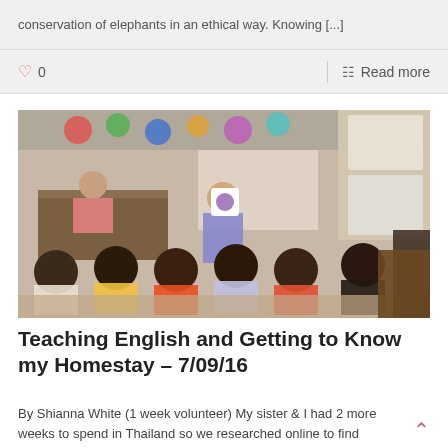conservation of elephants in an ethical way. Knowing [...]
♡ 0
Read more
[Figure (photo): A classroom scene showing children sitting on the floor from behind, watching a young woman volunteer holding up a book/sign. A classroom with colorful decorations on the walls, a teacher sitting at a desk in the back left, and children of various ages seated on the floor facing the volunteer.]
Teaching English and Getting to Know my Homestay – 7/09/16
By Shianna White (1 week volunteer) My sister & I had 2 more weeks to spend in Thailand so we researched online to find somewhere we [...]